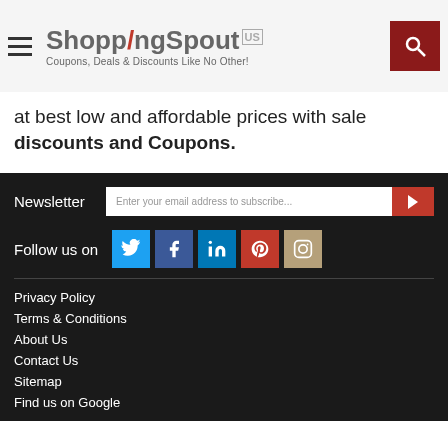ShoppingSpout US — Coupons, Deals & Discounts Like No Other!
at best low and affordable prices with sale discounts and Coupons.
Newsletter — Enter your email address to subscribe...
Follow us on
Privacy Policy
Terms & Conditions
About Us
Contact Us
Sitemap
Find us on Google